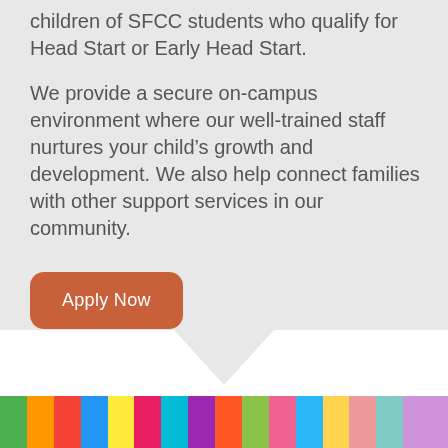children of SFCC students who qualify for Head Start or Early Head Start.
We provide a secure on-campus environment where our well-trained staff nurtures your child's growth and development. We also help connect families with other support services in our community.
Apply Now
[Figure (photo): Colorful foam/plastic building blocks or letter blocks in various bright colors including green, orange, red, blue, yellow, pink at the bottom of the page]